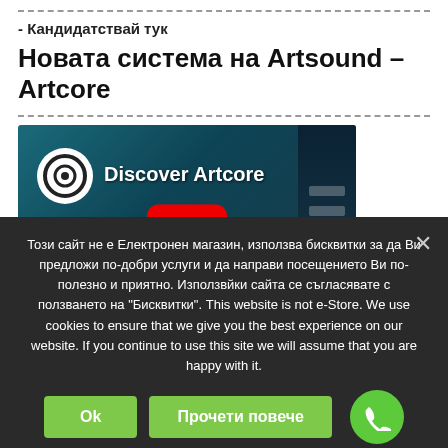- Кандидатствай тук
Новата система на Artsound – Artcore
[Figure (screenshot): YouTube video thumbnail for 'Discover Artcore' with play button and Artcore interface on right]
Този сайт не е Електронен магазин, използва бисквитки за да Ви предложи по-добри услуги и да направи посещението Ви по-полезно и приятно. Използвйки сайта се съгласявате с ползването на "Бисквитки". This website is not e-Store. We use cookies to ensure that we give you the best experience on our website. If you continue to use this site we will assume that you are happy with it.